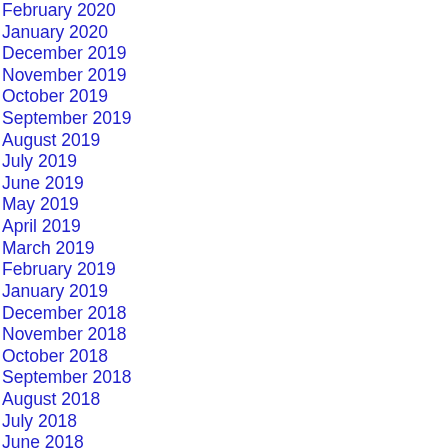February 2020
January 2020
December 2019
November 2019
October 2019
September 2019
August 2019
July 2019
June 2019
May 2019
April 2019
March 2019
February 2019
January 2019
December 2018
November 2018
October 2018
September 2018
August 2018
July 2018
June 2018
May 2018
April 2018
March 2018
February 2018
January 2018